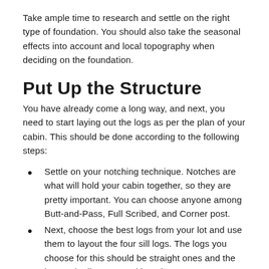Take ample time to research and settle on the right type of foundation. You should also take the seasonal effects into account and local topography when deciding on the foundation.
Put Up the Structure
You have already come a long way, and next, you need to start laying out the logs as per the plan of your cabin. This should be done according to the following steps:
Settle on your notching technique. Notches are what will hold your cabin together, so they are pretty important. You can choose anyone among Butt-and-Pass, Full Scribed, and Corner post.
Next, choose the best logs from your lot and use them to layout the four sill logs. The logs you choose for this should be straight ones and the largest in diameter and length.
Next, lay down the floor according to the notching system you are using. The measurements for your floor should be commensurate with the